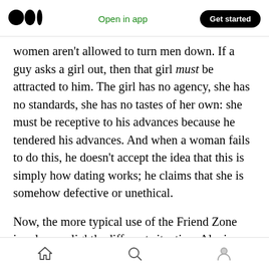Medium logo | Open in app | Get started
women aren't allowed to turn men down. If a guy asks a girl out, then that girl must be attracted to him. The girl has no agency, she has no standards, she has no tastes of her own: she must be receptive to his advances because he tendered his advances. And when a woman fails to do this, he doesn't accept the idea that this is simply how dating works; he claims that she is somehow defective or unethical.
Now, the more typical use of the Friend Zone involves a slightly different situation. Alexis
Home | Search | Profile